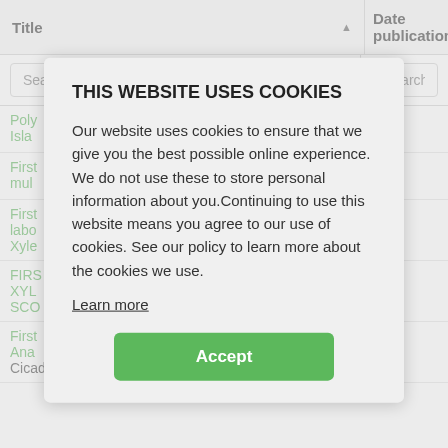| Title ▲ | Date publication ⬦ |
| --- | --- |
| Search... | Search... |
| Poly… Isla… |  |
| First… mul… |  |
| First… labo… Xyle… |  |
| FIRS… XYL… SCO… |  |
| First… Ana… Cicadellidae), in chile, with notes on its |  |
THIS WEBSITE USES COOKIES
Our website uses cookies to ensure that we give you the best possible online experience. We do not use these to store personal information about you.Continuing to use this website means you agree to our use of cookies. See our policy to learn more about the cookies we use.
Learn more
Accept